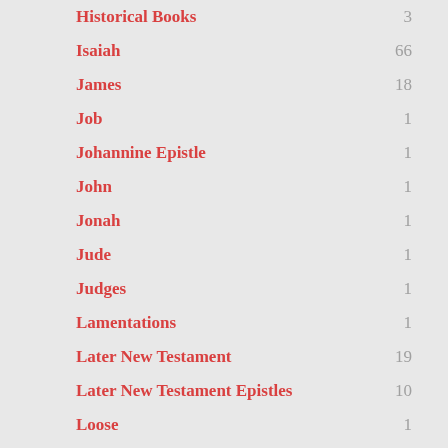Historical Books — 3
Isaiah — 66
James — 18
Job — 1
Johannine Epistle — 1
John — 1
Jonah — 1
Jude — 1
Judges — 1
Lamentations — 1
Later New Testament — 19
Later New Testament Epistles — 10
Loose — 1
Luke — 1
Major Prophets — 84